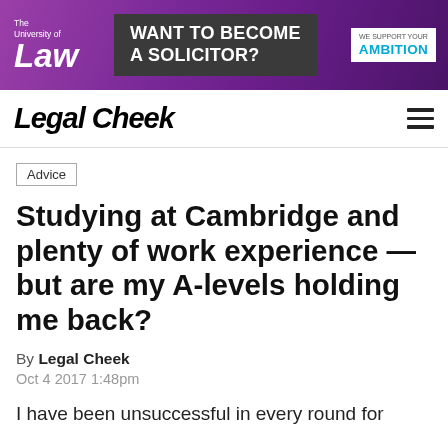[Figure (screenshot): University of Law banner advertisement with purple gradient background, text 'WANT TO BECOME A SOLICITOR?' and 'WE SUPPORT YOUR AMBITION']
Legal Cheek
Advice
Studying at Cambridge and plenty of work experience — but are my A-levels holding me back?
By Legal Cheek
Oct 4 2017 1:48pm
I have been unsuccessful in every round for